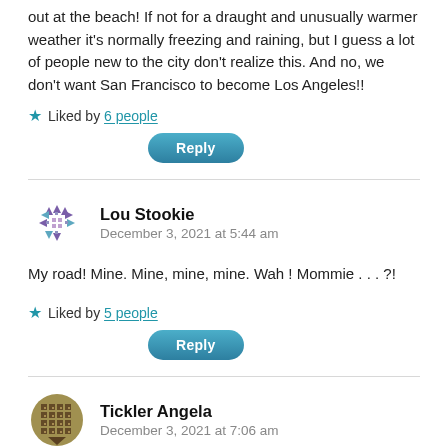out at the beach! If not for a draught and unusually warmer weather it's normally freezing and raining, but I guess a lot of people new to the city don't realize this. And no, we don't want San Francisco to become Los Angeles!!
★ Liked by 6 people
Reply
Lou Stookie
December 3, 2021 at 5:44 am
My road! Mine. Mine, mine, mine. Wah ! Mommie . . . ?!
★ Liked by 5 people
Reply
Tickler Angela
December 3, 2021 at 7:06 am
The cyclists should stop these ridiculous protests, and also stop blowing through the stop signs and lights at either end of the